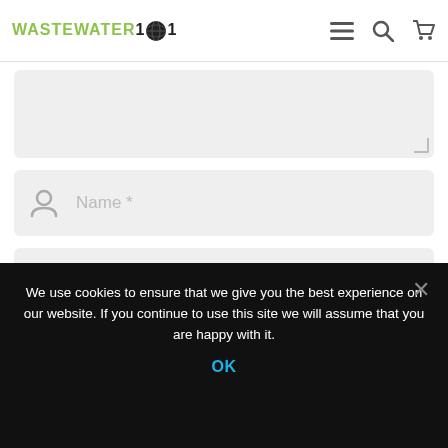WASTEWATER101 — navigation header with menu, search, and cart icons
[Figure (screenshot): Textarea input field (partially visible at top), followed by Name, Email, and Website form input fields with icons, and a blue submit button partially visible]
We use cookies to ensure that we give you the best experience on our website. If you continue to use this site we will assume that you are happy with it.
OK